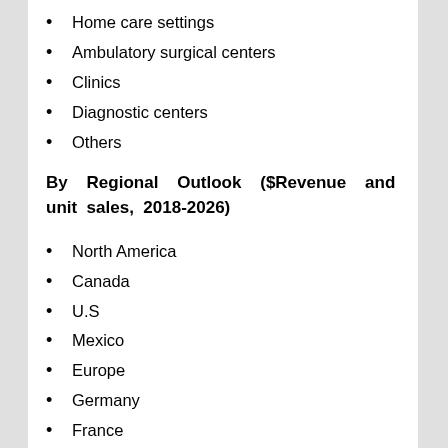Home care settings
Ambulatory surgical centers
Clinics
Diagnostic centers
Others
By Regional Outlook ($Revenue and unit sales, 2018-2026)
North America
Canada
U.S
Mexico
Europe
Germany
France
U.K
Rest of Europe
Asia-Pacific
China